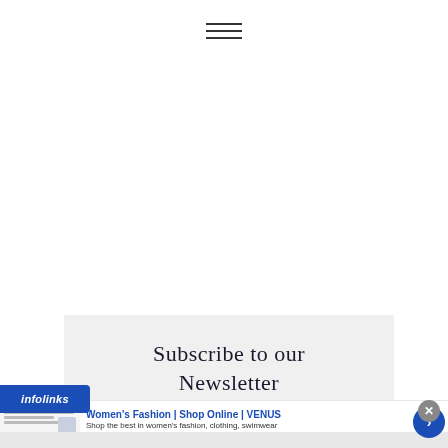hamburger menu icon
Subscribe to our Newsletter
[Figure (screenshot): Infolinks advertisement banner for Women's Fashion | Shop Online | VENUS, showing a website screenshot thumbnail on the left, ad title in blue, description text, and venus.com URL in green, with a close (X) button and blue arrow navigation button]